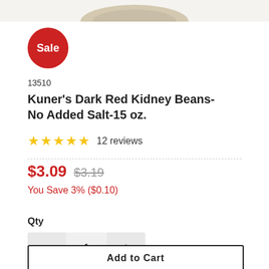[Figure (photo): Partial view of a can of Kuner's Dark Red Kidney Beans, cropped at top]
[Figure (other): Red circular Sale badge]
13510
Kuner's Dark Red Kidney Beans-No Added Salt-15 oz.
★★★★★ 12 reviews
$3.09 $3.19
You Save 3% ($0.10)
Qty
1
Add to Cart